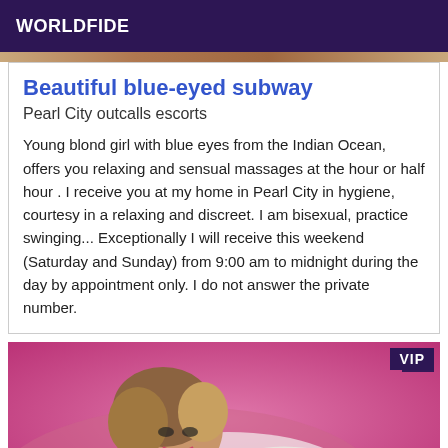WORLDFIDE
[Figure (photo): Top decorative banner image with warm tones]
Beautiful blue-eyed subway
Pearl City outcalls escorts
Young blond girl with blue eyes from the Indian Ocean, offers you relaxing and sensual massages at the hour or half hour . I receive you at my home in Pearl City in hygiene, courtesy in a relaxing and discreet. I am bisexual, practice swinging... Exceptionally I will receive this weekend (Saturday and Sunday) from 9:00 am to midnight during the day by appointment only. I do not answer the private number.
[Figure (photo): Photo of a woman with brown hair wearing black and white outfit, lying down against a pink background. VIP badge in top right corner.]